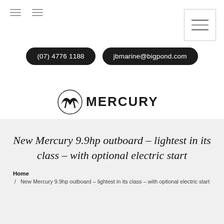(07) 4776 1188 | jbmarine@bigpond.com
[Figure (logo): Mercury marine logo with stylized M emblem and bold MERCURY text]
New Mercury 9.9hp outboard – lightest in its class – with optional electric start
Home / New Mercury 9.9hp outboard – lightest in its class – with optional electric start